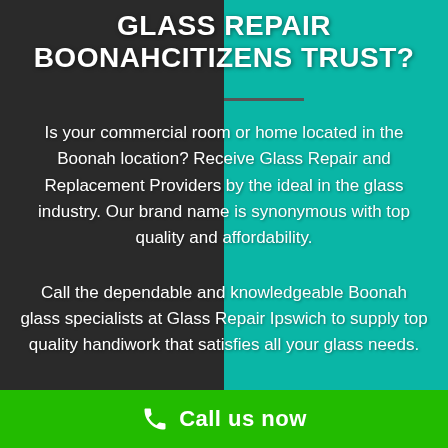GLASS REPAIR BOONAHCITIZENS TRUST?
Is your commercial room or home located in the Boonah location? Receive Glass Repair and Replacement Providers by the ideal in the glass industry. Our brand name is synonymous with top quality and affordability.
Call the dependable and knowledgeable Boonah glass specialists at Glass Repair Ipswich to supply top quality handiwork that satisfies all your glass needs.
Call us now